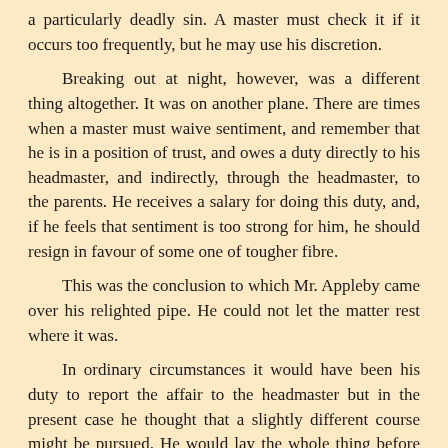a particularly deadly sin. A master must check it if it occurs too frequently, but he may use his discretion.
Breaking out at night, however, was a different thing altogether. It was on another plane. There are times when a master must waive sentiment, and remember that he is in a position of trust, and owes a duty directly to his headmaster, and indirectly, through the headmaster, to the parents. He receives a salary for doing this duty, and, if he feels that sentiment is too strong for him, he should resign in favour of some one of tougher fibre.
This was the conclusion to which Mr. Appleby came over his relighted pipe. He could not let the matter rest where it was.
In ordinary circumstances it would have been his duty to report the affair to the headmaster but in the present case he thought that a slightly different course might be pursued. He would lay the whole thing before Mr. Wain, and leave him to deal with it as he thought best. It was one of the few cases where it was possible for an assistant-master to fulfil